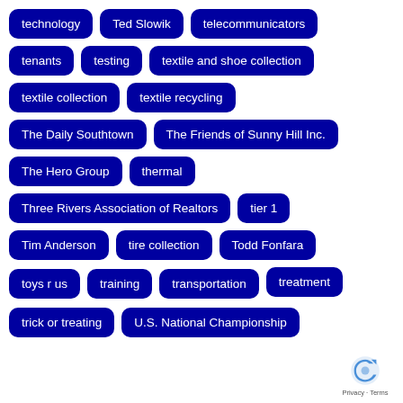technology
Ted Slowik
telecommunicators
tenants
testing
textile and shoe collection
textile collection
textile recycling
The Daily Southtown
The Friends of Sunny Hill Inc.
The Hero Group
thermal
Three Rivers Association of Realtors
tier 1
Tim Anderson
tire collection
Todd Fonfara
toys r us
training
transportation
treatment
trick or treating
U.S. National Championship